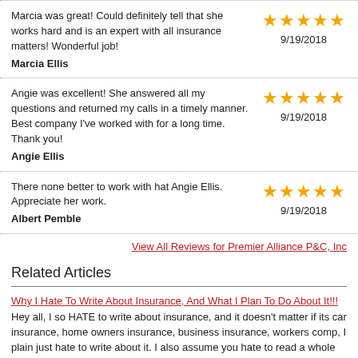Marcia was great! Could definitely tell that she works hard and is an expert with all insurance matters! Wonderful job!
Marcia Ellis
9/19/2018
Angie was excellent! She answered all my questions and returned my calls in a timely manner. Best company I've worked with for a long time. Thank you!
Angie Ellis
9/19/2018
There none better to work with hat Angie Ellis. Appreciate her work.
Albert Pemble
9/19/2018
View All Reviews for Premier Alliance P&C, Inc
Related Articles
Why I Hate To Write About Insurance, And What I Plan To Do About It!!!
Hey all, I so HATE to write about insurance, and it doesn't matter if its car insurance, home owners insurance, business insurance, workers comp, I plain just hate to write about it. I also assume you hate to read a whole lot about all those insurances....